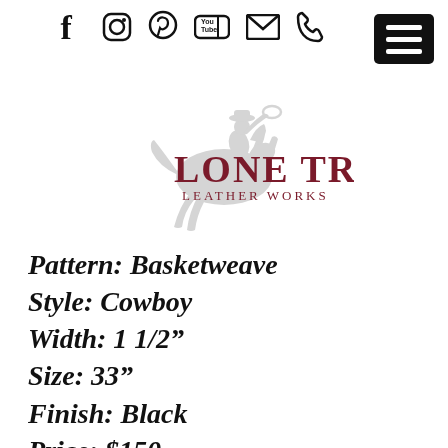Social media icons: Facebook, Instagram, Pinterest, YouTube, Email, Phone
[Figure (logo): Lone Tree Leather Works logo: a cowboy on a rearing horse silhouette in gray, with 'LONE TREE' in dark red serif text and 'LEATHER WORKS' below]
Pattern: Basketweave
Style: Cowboy
Width: 1 1/2"
Size: 33"
Finish: Black
Price: $150